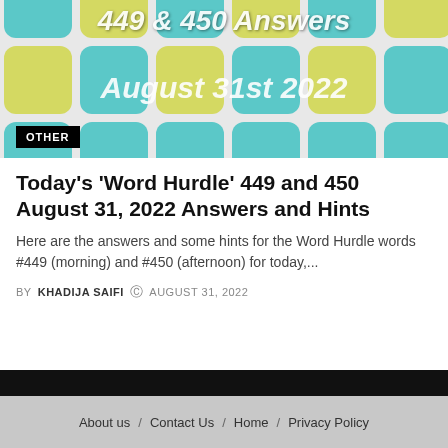[Figure (illustration): Hero image showing a Word Hurdle puzzle grid with teal/cyan and yellow-green rounded square tiles, with bold white italic text overlaid reading '449 & 450 Answers August 31st 2022']
Today's 'Word Hurdle' 449 and 450 August 31, 2022 Answers and Hints
Here are the answers and some hints for the Word Hurdle words #449 (morning) and #450 (afternoon) for today,...
BY KHADIJA SAIFI  © AUGUST 31, 2022
About us / Contact Us / Home / Privacy Policy